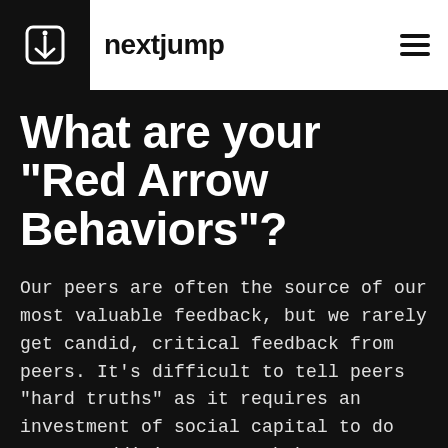nextjump
What are your "Red Arrow Behaviors"?
Our peers are often the source of our most valuable feedback, but we rarely get candid, critical feedback from peers. It's difficult to tell peers "hard truths" as it requires an investment of social capital to do so. In addition, we each have behaviors that shut down peers from telling us the truth.
The desired outcome of Pre-Resiliency Training is to develop an awareness of our